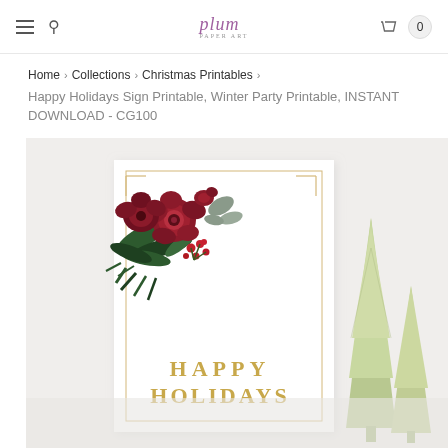plum paper art — navigation bar with hamburger menu, search icon, logo, cart icon with count 0
Home > Collections > Christmas Printables >
Happy Holidays Sign Printable, Winter Party Printable, INSTANT DOWNLOAD - CG100
[Figure (photo): Product photo of a Happy Holidays printable sign in a white frame with dark red floral arrangement in top-left corner and gold 'HAPPY HOLIDAYS' text, displayed alongside gold glitter Christmas trees on a light grey background.]